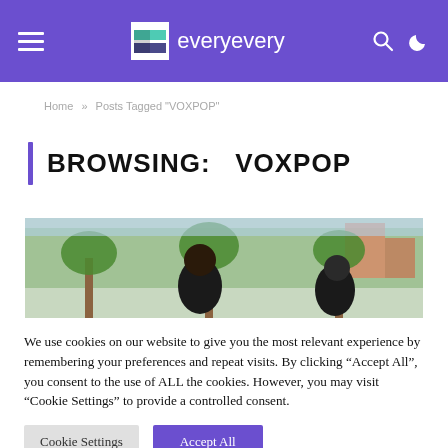everyevery
Home » Posts Tagged "VOXPOP"
BROWSING:   VOXPOP
[Figure (photo): Outdoor photo showing people with trees and buildings in background]
We use cookies on our website to give you the most relevant experience by remembering your preferences and repeat visits. By clicking “Accept All”, you consent to the use of ALL the cookies. However, you may visit “Cookie Settings” to provide a controlled consent.
Cookie Settings   Accept All